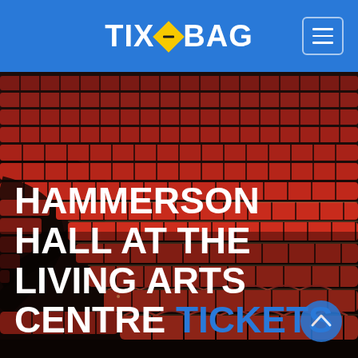TIXOBAG
[Figure (photo): Interior of Hammerson Hall at The Living Arts Centre showing curved rows of red theater seats ascending in tiers, viewed from stage level]
HAMMERSON HALL AT THE LIVING ARTS CENTRE TICKETS